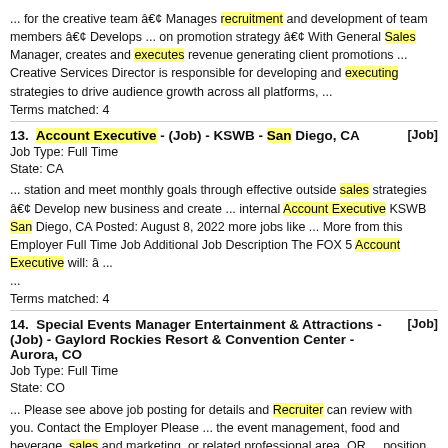... for the creative team â€¢ Manages recruitment and development of team members â€¢ Develops ... on promotion strategy â€¢ With General Sales Manager, creates and executes revenue generating client promotions ... Creative Services Director is responsible for developing and executing strategies to drive audience growth across all platforms, ...
Terms matched: 4
13. Account Executive - (Job) - KSWB - San Diego, CA [Job]
Job Type: Full Time
State: CA
... station and meet monthly goals through effective outside sales strategies â€¢ Develop new business and create ... internal Account Executive KSWB San Diego, CA Posted: August 8, 2022 more jobs like ... More from this Employer Full Time Job Additional Job Description The FOX 5 Account Executive will: â ...
Terms matched: 4
14. Special Events Manager Entertainment & Attractions - (Job) - Gaylord Rockies Resort & Convention Center - Aurora, CO [Job]
Job Type: Full Time
State: CO
... Please see above job posting for details and Recruiter can review with you. Contact the Employer Please ... the event management, food and beverage, sales and marketing, or related professional area. OR ... position offers health care benefits, flexible spending accounts, 401(k ) plan, accrued paid ...
Terms matched: 4